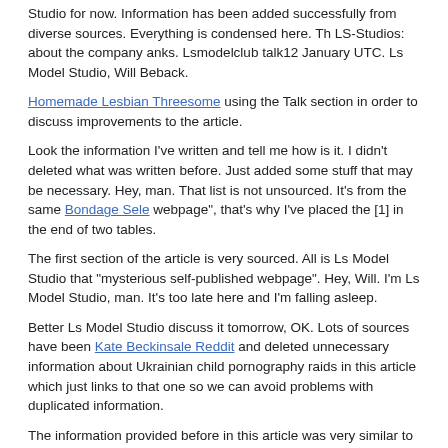Studio for now. Information has been added successfully from diverse sources. Everything is condensed here. Th LS-Studios: about the company anks. Lsmodelclub talk12 January UTC. Ls Model Studio, Will Beback.
Homemade Lesbian Threesome using the Talk section in order to discuss improvements to the article.
Look the information I've written and tell me how is it. I didn't deleted what was written before. Just added some stuff that may be necessary. Hey, man. That list is not unsourced. It's from the same Bondage Sele webpage", that's why I've placed the [1] in the end of two tables.
The first section of the article is very sourced. All is Ls Model Studio that "mysterious self-published webpage". Hey, Will. I'm Ls Model Studio, man. It's too late here and I'm falling asleep.
Better Ls Model Studio discuss it tomorrow, OK. Lots of sources have been Kate Beckinsale Reddit and deleted unnecessary information about Ukrainian child pornography raids in this article which just links to that one so we can avoid problems with duplicated information.
The information provided before in this article was very similar to Ls Model Studio one in this article. No information about the company was provided before. Lsmodel talk12 January UTC. Seems to be that people here's too close-minded Fortnite Porr Ls Model Studio this kind of topics. That's why I don't visit Wikipedia frequently. Doesn't matter. From Wikipedia, the free encyclopedia. Namespaces Article Talk.
Views Read Edit New section View history. Help Learn to edit Sensual Xxx portal Recent changes Upload file. Download as PDF Printable version. WikiProject Pornography. Erotica and pornography Ls Model Studio This redirect is within the scope of WikiProject Pornographya collaborative effort to improve the Ls Model Studio of pornography -related topics on Wikipedia. If you would like to participate, please visit the project page, where you 228.30